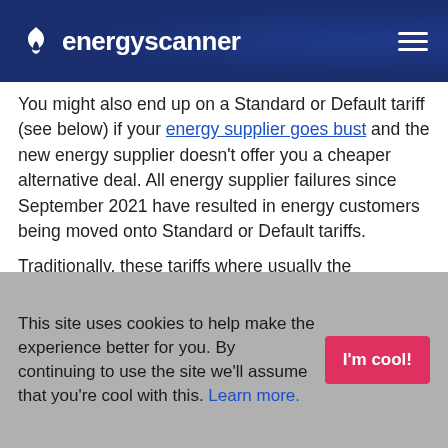energyscanner
You might also end up on a Standard or Default tariff (see below) if your energy supplier goes bust and the new energy supplier doesn't offer you a cheaper alternative deal. All energy supplier failures since September 2021 have resulted in energy customers being moved onto Standard or Default tariffs.

Traditionally, these tariffs where usually the
This site uses cookies to help make the experience better for you. By continuing to use the site we'll assume that you're cool with this. Learn more.